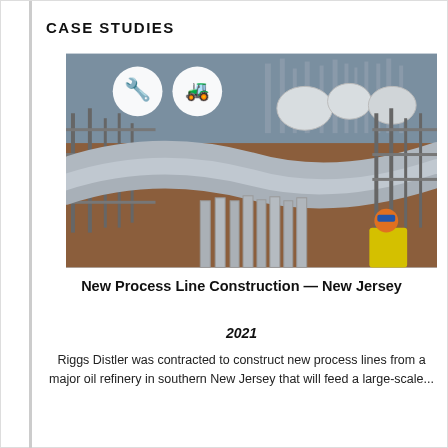CASE STUDIES
[Figure (photo): Construction site photo showing curved industrial process pipes and scaffolding at an oil refinery, with a worker in yellow safety vest and hard hat visible at bottom right. Two circular icons overlay the top of the image: a wrench/tool icon and an excavator icon.]
New Process Line Construction — New Jersey
2021
Riggs Distler was contracted to construct new process lines from a major oil refinery in southern New Jersey that will feed a large-scale...